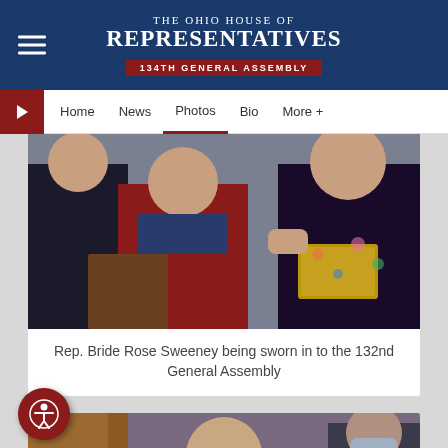The Ohio House of Representatives – 134th General Assembly
[Figure (screenshot): Navigation bar with Home, News, Photos (active), Bio, More+ links]
[Figure (photo): Rep. Bride Rose Sweeney being sworn in to the 132nd General Assembly – group of women, one in red jacket holding a Bible]
Rep. Bride Rose Sweeney being sworn in to the 132nd General Assembly
[Figure (photo): Woman speaking at a podium in the Ohio House chamber while wearing a blue face mask, holding a microphone]